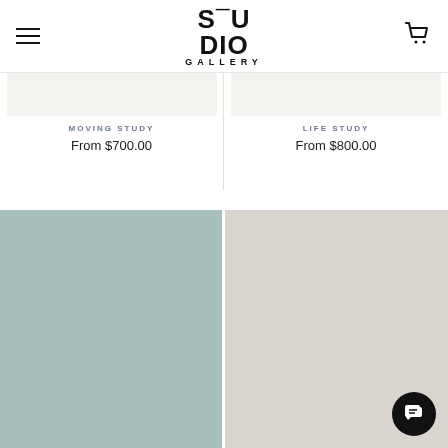STUDIO GALLERY
[Figure (photo): Product image placeholder - light beige background for MOVING STUDY artwork]
MOVING STUDY
From $700.00
[Figure (photo): Product image placeholder - light beige background for LIFE STUDY artwork]
LIFE STUDY
From $800.00
[Figure (photo): Product image - muted teal/blue-grey color block]
[Figure (photo): Product image - light grey/beige color block]